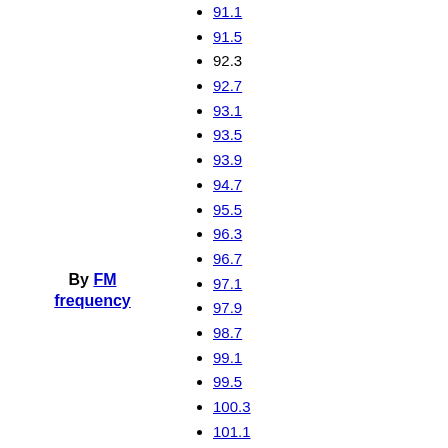91.1
91.5
92.3
92.7
93.1
93.5
93.9
94.7
95.5
96.3
96.7
97.1
97.9
98.7
99.1
99.5
100.3
101.1
101.9
102.7
103.5
103.9
104.3
105.1
105.9
By FM frequency